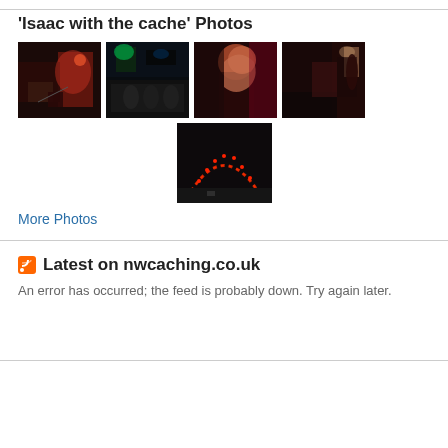'Isaac with the cache' Photos
[Figure (photo): Five thumbnail photos arranged in two rows: top row has four dark nighttime photos including a bar/concert scene with red lights, a street scene with neon lights and crowd, a woman with red/auburn hair in profile, and a performer on stage; second row centered has one photo of a red-dotted LED arch against a dark background.]
More Photos
Latest on nwcaching.co.uk
An error has occurred; the feed is probably down. Try again later.